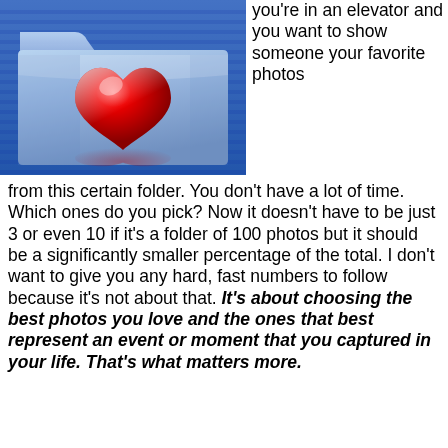[Figure (illustration): A blue folder icon with a large red glossy heart centered on it, set against a blue striped background. The heart has a reflection below it.]
you're in an elevator and you want to show someone your favorite photos from this certain folder. You don't have a lot of time. Which ones do you pick? Now it doesn't have to be just 3 or even 10 if it's a folder of 100 photos but it should be a significantly smaller percentage of the total. I don't want to give you any hard, fast numbers to follow because it's not about that. It's about choosing the best photos you love and the ones that best represent an event or moment that you captured in your life. That's what matters more.